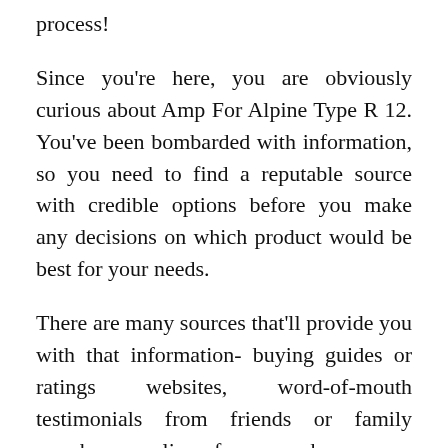process!
Since you're here, you are obviously curious about Amp For Alpine Type R 12. You've been bombarded with information, so you need to find a reputable source with credible options before you make any decisions on which product would be best for your needs.
There are many sources that'll provide you with that information- buying guides or ratings websites, word-of-mouth testimonials from friends or family members, online forums where users share their personal experiences, product reviews specifically found all over the internet